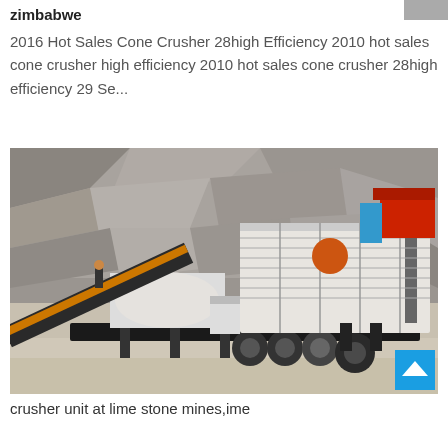zimbabwe
2016 Hot Sales Cone Crusher 28high Efficiency 2010 hot sales cone crusher high efficiency 2010 hot sales cone crusher 28high efficiency 29 Se...
[Figure (photo): Mobile cone crusher unit operating at a limestone quarry/mine site. Large industrial crushing and screening equipment mounted on a wheeled trailer chassis, set against a rocky cliff face. Workers visible on the platform. A blue scroll-to-top button is visible in the lower right corner of the image.]
crusher unit at lime stone mines,ime